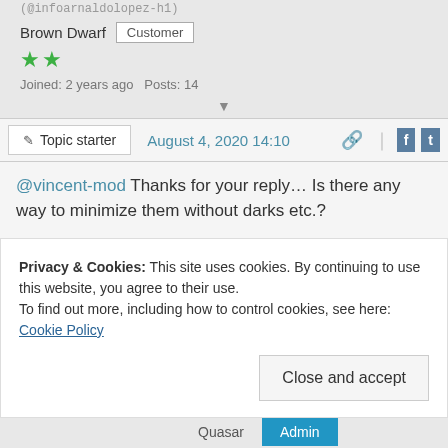(@infoarnaldolopez-h1)
Brown Dwarf   Customer
★★ (2 green stars)
Joined: 2 years ago   Posts: 14
▼
✏ Topic starter   August 4, 2020 14:10  🔗 | f  t
@vincent-mod Thanks for your reply... Is there any way to minimize them without darks etc.?
Privacy & Cookies: This site uses cookies. By continuing to use this website, you agree to their use.
To find out more, including how to control cookies, see here: Cookie Policy
Close and accept
Quasar   Admin